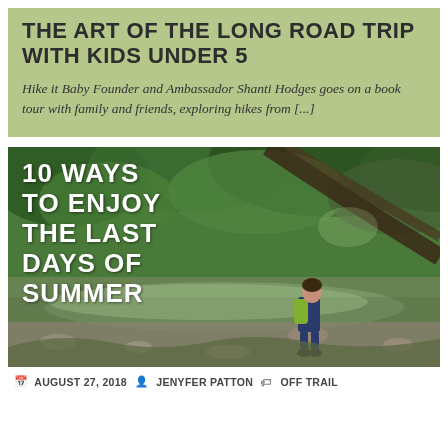THE ART OF THE LONG ROAD TRIP WITH KIDS UNDER 5
Hike it Baby Founder and Ambassador Shanti Hodges goes on a book tour with family and friends, exploring hikes from [...]
[Figure (photo): Child with green backpack wading in a rocky stream in a lush green forest. Text overlay reads: 10 WAYS TO ENJOY THE LAST DAYS OF SUMMER]
AUGUST 27, 2018  JENYFER PATTON  OFF TRAIL